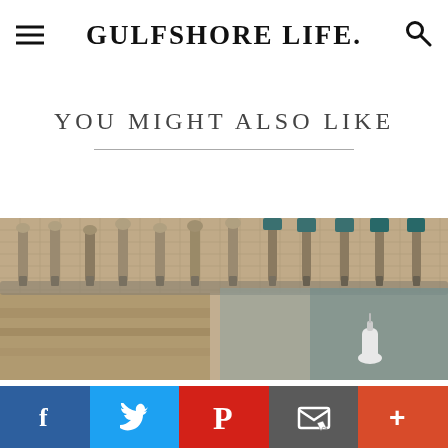GULFSHORE LIFE
YOU MIGHT ALSO LIKE
[Figure (photo): Row of metal beer tap handles mounted on a mosaic tile bar surface, with a squeeze bottle visible in the lower right foreground.]
Social share buttons: Facebook, Twitter, Pinterest, Email, More